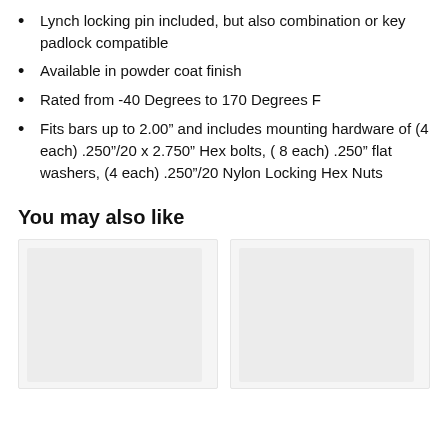Lynch locking pin included, but also combination or key padlock compatible
Available in powder coat finish
Rated from -40 Degrees to 170 Degrees F
Fits bars up to 2.00" and includes mounting hardware of (4 each) .250"/20 x 2.750" Hex bolts, ( 8 each) .250" flat washers, (4 each) .250"/20 Nylon Locking Hex Nuts
You may also like
[Figure (photo): Product image placeholder (light gray rectangle)]
[Figure (photo): Product image placeholder (light gray rectangle)]